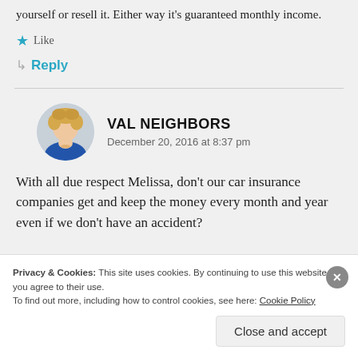yourself or resell it. Either way it's guaranteed monthly income.
★ Like
↳ Reply
VAL NEIGHBORS
December 20, 2016 at 8:37 pm
With all due respect Melissa, don't our car insurance companies get and keep the money every month and year even if we don't have an accident?
Privacy & Cookies: This site uses cookies. By continuing to use this website, you agree to their use.
To find out more, including how to control cookies, see here: Cookie Policy
Close and accept